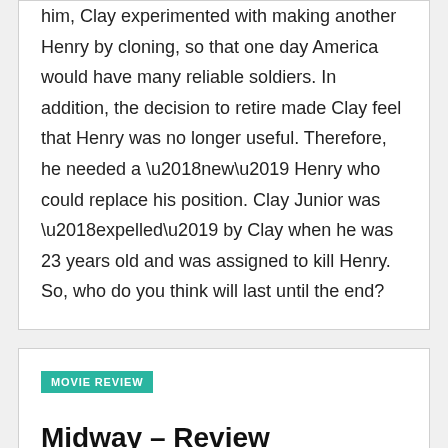him, Clay experimented with making another Henry by cloning, so that one day America would have many reliable soldiers. In addition, the decision to retire made Clay feel that Henry was no longer useful. Therefore, he needed a ‘new’ Henry who could replace his position. Clay Junior was ‘expelled’ by Clay when he was 23 years old and was assigned to kill Henry. So, who do you think will last until the end?
MOVIE REVIEW
Midway – Review
BY ADMIN / JANUARY 28, 2020